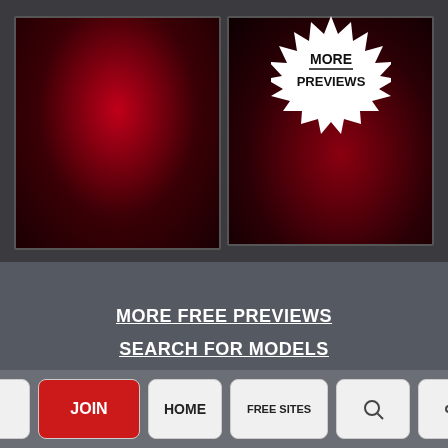[Figure (photo): Left panel: dark red radial gradient image thumbnail with dark border]
[Figure (illustration): Right panel: dark red gradient image with white starburst badge showing MORE PREVIEWS text]
MORE FREE PREVIEWS
SEARCH FOR MODELS
OUR NEWSLETTER
SHARE THIS PAGE
^ JOIN HOME FREE SITES [search] [share]